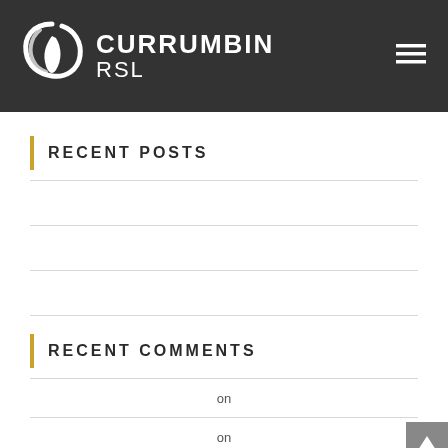[Figure (logo): Currumbin RSL logo with stylized leaf/flame icon in white, brand name CURRUMBIN RSL in white on dark grey header bar, with hamburger menu icon on the right]
RECENT POSTS
RECENT COMMENTS
on
on